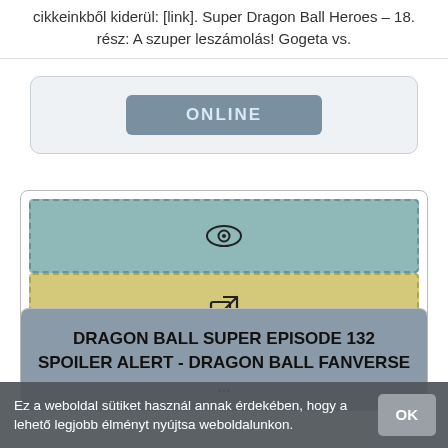cikkeinkből kiderül: [link]. Super Dragon Ball Heroes – 18. rész: A szuper leszámolás! Gogeta vs.
[Figure (other): Online button inside a light blue-gray rounded card]
[Figure (other): Two dashed-border boxes: top teal with eye icon, bottom yellow with external link icon]
[Figure (other): Card with gray header text: DRAGON BALL SUPER EPISODE 132 SPOILER ALERT - DRAGON BALL FANVERSE ...]
Ez a weboldal sütiket használ annak érdekében, hogy a lehető legjobb élményt nyújtsa weboldalunkon.